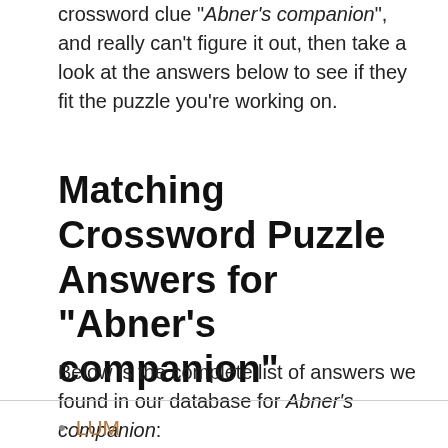crossword clue "Abner's companion", and really can't figure it out, then take a look at the answers below to see if they fit the puzzle you're working on.
Matching Crossword Puzzle Answers for "Abner's companion"
Below is the complete list of answers we found in our database for Abner's companion:
LUM